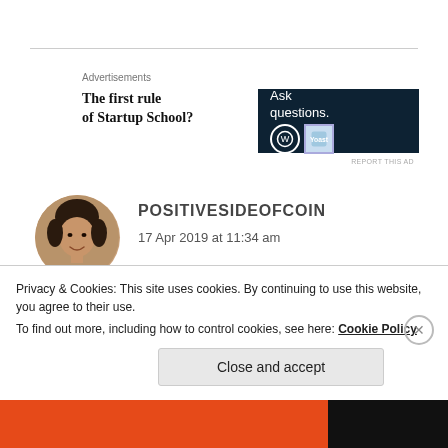Advertisements
[Figure (other): Text advertisement reading 'The first rule of Startup School?']
[Figure (other): Dark banner advertisement: 'Ask questions.' with WordPress and Yoast logos]
REPORT THIS AD
[Figure (photo): Circular avatar photo of a woman with dark hair, smiling]
POSITIVESIDEOFCOIN
17 Apr 2019 at 11:34 am
All the best for your studies. Focus on your goal and achieve them. And also try to manage your time for
Privacy & Cookies: This site uses cookies. By continuing to use this website, you agree to their use.
To find out more, including how to control cookies, see here: Cookie Policy
Close and accept